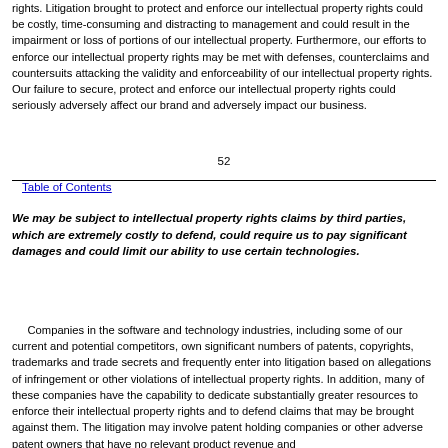rights. Litigation brought to protect and enforce our intellectual property rights could be costly, time-consuming and distracting to management and could result in the impairment or loss of portions of our intellectual property. Furthermore, our efforts to enforce our intellectual property rights may be met with defenses, counterclaims and countersuits attacking the validity and enforceability of our intellectual property rights. Our failure to secure, protect and enforce our intellectual property rights could seriously adversely affect our brand and adversely impact our business.
52
Table of Contents
We may be subject to intellectual property rights claims by third parties, which are extremely costly to defend, could require us to pay significant damages and could limit our ability to use certain technologies.
Companies in the software and technology industries, including some of our current and potential competitors, own significant numbers of patents, copyrights, trademarks and trade secrets and frequently enter into litigation based on allegations of infringement or other violations of intellectual property rights. In addition, many of these companies have the capability to dedicate substantially greater resources to enforce their intellectual property rights and to defend claims that may be brought against them. The litigation may involve patent holding companies or other adverse patent owners that have no relevant product revenue and